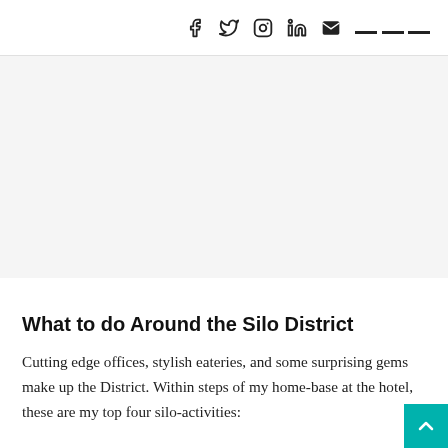Social media icons: Facebook, Twitter, Instagram, LinkedIn, Email, Menu
[Figure (photo): Large image area (white/light grey placeholder) taking up roughly half the page height below the header]
What to do Around the Silo District
Cutting edge offices, stylish eateries, and some surprising gems make up the District. Within steps of my home-base at the hotel, these are my top four silo-activities: